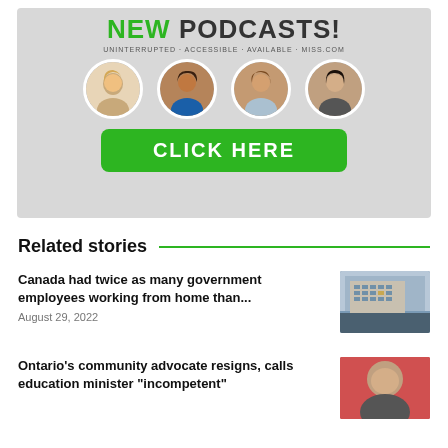[Figure (infographic): Podcast promotional banner with 'NEW PODCASTS!' heading, four circular portrait photos, and a green 'CLICK HERE' button on gray background]
Related stories
Canada had twice as many government employees working from home than...
August 29, 2022
[Figure (photo): Photo of a government building, modern multi-story office block against blue sky]
Ontario's community advocate resigns, calls education minister "incompetent"
[Figure (photo): Photo of a bald man, cropped portrait]